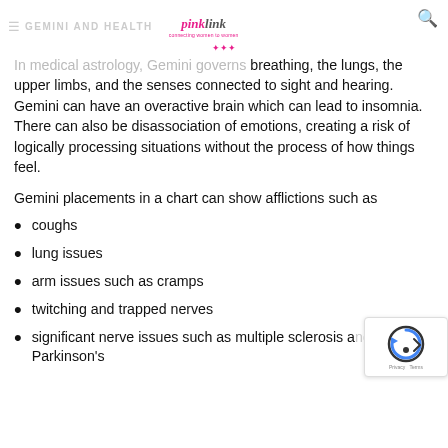GEMINI AND HEALTH — pinklink
In medical astrology, Gemini governs breathing, the lungs, the upper limbs, and the senses connected to sight and hearing. Gemini can have an overactive brain which can lead to insomnia. There can also be disassociation of emotions, creating a risk of logically processing situations without the process of how things feel.
Gemini placements in a chart can show afflictions such as
coughs
lung issues
arm issues such as cramps
twitching and trapped nerves
significant nerve issues such as multiple sclerosis and Parkinson's